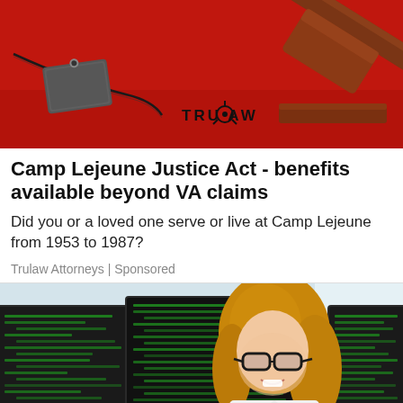[Figure (photo): Red background photo with a wooden gavel, sound block, and military dog tags on a chain. TRULAW watermark/logo visible at bottom center of image.]
Camp Lejeune Justice Act - benefits available beyond VA claims
Did you or a loved one serve or live at Camp Lejeune from 1953 to 1987?
Trulaw Attorneys | Sponsored
[Figure (photo): Photo of a smiling woman with glasses and blonde hair sitting in front of multiple computer monitors displaying green code on dark screens. A scroll-to-top arrow button is visible in the bottom right corner.]